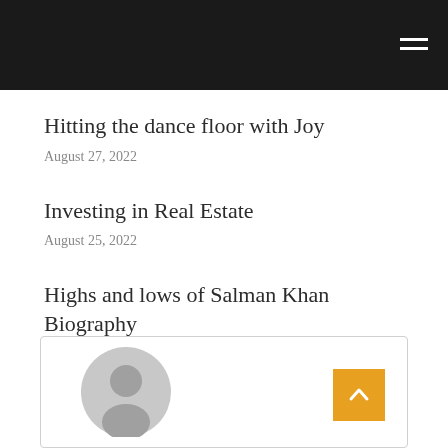Hitting the dance floor with Joy
August 27, 2022
Investing in Real Estate
August 25, 2022
Highs and lows of Salman Khan Biography
August 24, 2022
[Figure (illustration): User avatar placeholder with gray silhouette of a person inside a circle, and an orange back-to-top arrow button]